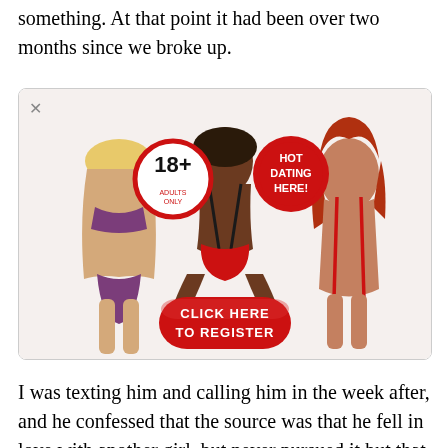something. At that point it had been over two months since we broke up.
[Figure (illustration): Adult dating advertisement banner showing three women in lingerie/swimwear poses, with '18+ Adults Only' badge, 'HOT DATING HERE!' red badge, and a red 'CLICK HERE TO REGISTER' button in the center.]
I was texting him and calling him in the week after, and he confessed that the source was that he fell in love with another girl, but never pursued it but that made him question his love for me. Now i am in NC for